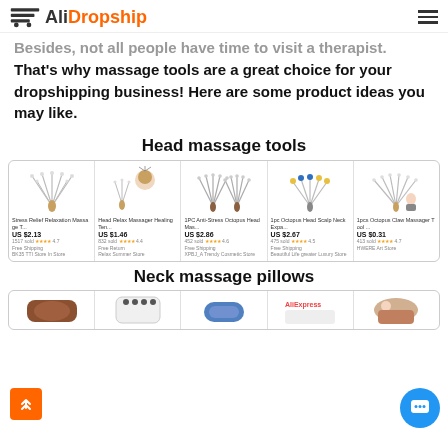AliDropship
Besides, not all people have time to visit a therapist. That's why massage tools are a great choice for your dropshipping business! Here are some product ideas you may like.
Head massage tools
[Figure (screenshot): Product listing grid showing 5 head massager products from AliExpress with prices: US$2.13, US$1.46, US$2.86, US$2.67, US$0.31]
Neck massage pillows
[Figure (screenshot): Partial product listing grid showing neck massage pillow products]